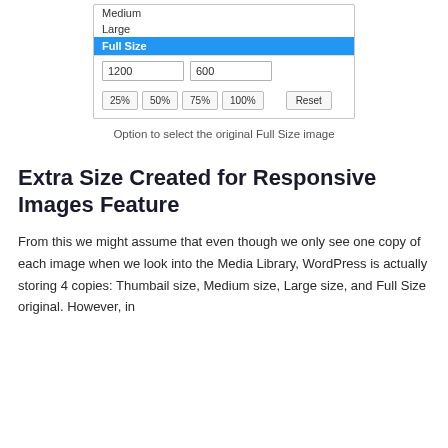[Figure (screenshot): UI widget showing a list with items Medium, Large, Full Size (highlighted in blue), input fields with values 1200 and 600, buttons 25%, 50%, 75%, 100%, and a Reset button]
Option to select the original Full Size image
Extra Size Created for Responsive Images Feature
From this we might assume that even though we only see one copy of each image when we look into the Media Library, WordPress is actually storing 4 copies: Thumbail size, Medium size, Large size, and Full Size original. However, in